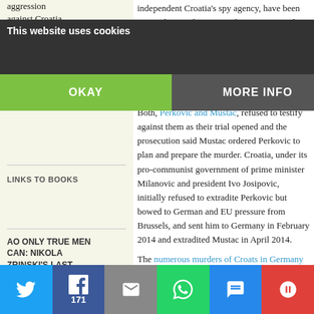aggression against Croatia, 16 October 1991)
LINKS TO BOOKS
AO ONLY TRUE MEN CAN: NIKOLA ZRINSKI'S LAST STAND AT SZIGET BY ZELJKO ZIDARIC
independent Croatia's spy agency, have been arrested on Friday 17 October 2014, over the 1983 murder of a dissident in Bavaria. Djurekovic was charged with being accessories to the murder. Djurekovic was beaten on July 28, 1983, in a garage in Wolfratshausen near Munich.
Both, Perkovic and Mustac, refused to testify against them as their trial opened and the prosecution said Mustac ordered Perkovic to plan and prepare the murder. Croatia, under its pro-communist government of prime minister Milanovic and president Ivo Josipovic, initially refused to extradite Perkovic but bowed to German and EU pressure from Brussels, and sent him to Germany in February 2014 and extradited Mustac in April 2014.
The numerous murders of Croats in Germany by Yugoslavia secret police, says Deutsche Welle, are the longest unsolved murders in Germany: U
This website uses cookies
OKAY
MORE INFO
Twitter | Facebook 171 | Email | WhatsApp | SMS | More